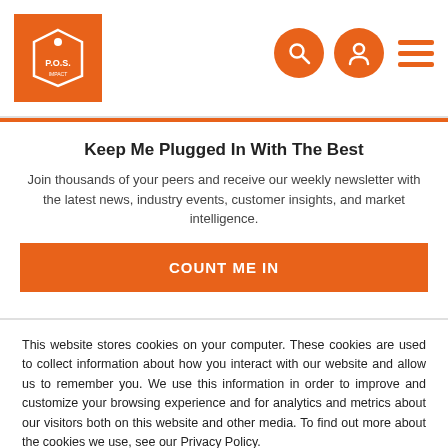[Figure (logo): Orange square logo with a price tag icon and text 'P.O.S.' at the bottom]
[Figure (infographic): Navigation icons: search (magnifying glass), user/profile, and hamburger menu, all in orange]
Keep Me Plugged In With The Best
Join thousands of your peers and receive our weekly newsletter with the latest news, industry events, customer insights, and market intelligence.
COUNT ME IN
This website stores cookies on your computer. These cookies are used to collect information about how you interact with our website and allow us to remember you. We use this information in order to improve and customize your browsing experience and for analytics and metrics about our visitors both on this website and other media. To find out more about the cookies we use, see our Privacy Policy.
If you decline, your information won't be tracked when you visit this website. A single cookie will be used in your browser to remember your preference not to be tracked.
Accept
Decline